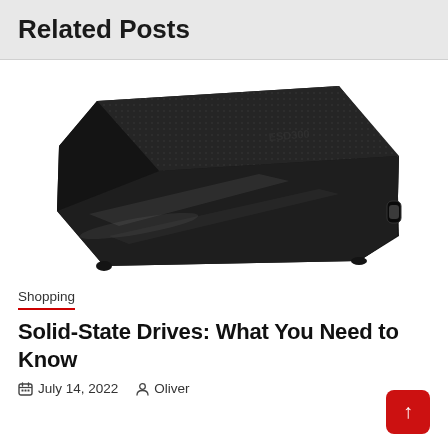Related Posts
[Figure (photo): A black portable solid-state drive (SSD) with textured surface and USB-C port visible on the right side, photographed on a white background.]
Shopping
Solid-State Drives: What You Need to Know
July 14, 2022   Oliver